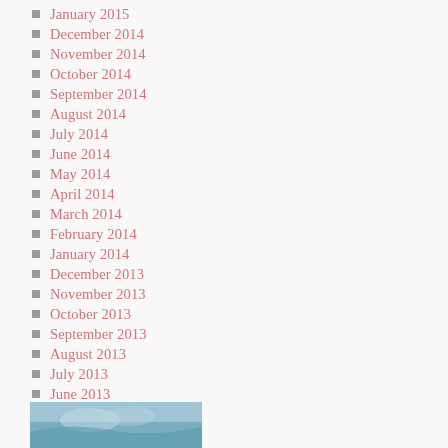January 2015
December 2014
November 2014
October 2014
September 2014
August 2014
July 2014
June 2014
May 2014
April 2014
March 2014
February 2014
January 2014
December 2013
November 2013
October 2013
September 2013
August 2013
July 2013
June 2013
[Figure (photo): Partial photo visible at bottom of page, appears to be an outdoor or nature scene with blue/teal tones]